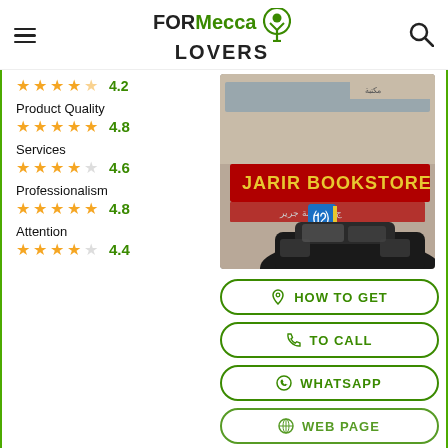FORMecca LOVERS
Product Quality 4.8
Services 4.6
Professionalism 4.8
Attention 4.4
[Figure (photo): Exterior photo of Jarir Bookstore, showing storefront sign in red text with Arabic script, a disability parking sign, and a dark car in the foreground.]
HOW TO GET
TO CALL
WHATSAPP
WEB PAGE